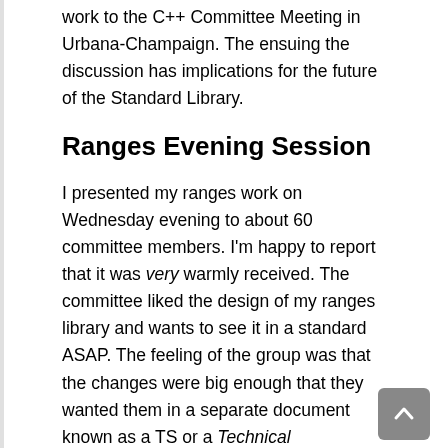work to the C++ Committee Meeting in Urbana-Champaign. The ensuing the discussion has implications for the future of the Standard Library.
Ranges Evening Session
I presented my ranges work on Wednesday evening to about 60 committee members. I'm happy to report that it was very warmly received. The committee liked the design of my ranges library and wants to see it in a standard ASAP. The feeling of the group was that the changes were big enough that they wanted them in a separate document known as a TS or a Technical Specification rather than in the official C++ standard. That way, we can flush out potential problems before baking it.
Some people might be disappointed that ranges will not be in C++17, but let me assure you that this is